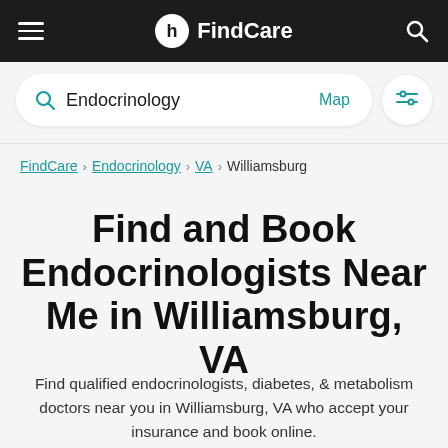FindCare
Endocrinology  Map
FindCare › Endocrinology › VA › Williamsburg
Find and Book Endocrinologists Near Me in Williamsburg, VA
Find qualified endocrinologists, diabetes, & metabolism doctors near you in Williamsburg, VA who accept your insurance and book online.